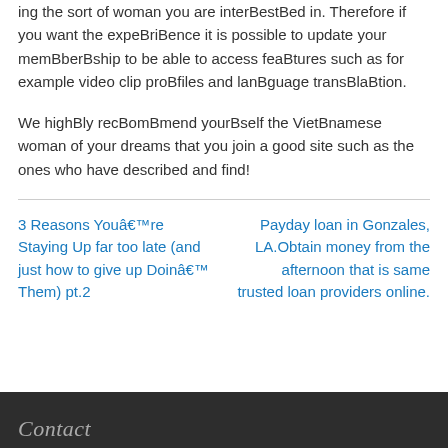ing the sort of woman you are interBestBed in. Therefore if you want the expeBriBence it is possible to update your memBberBship to be able to access feaBtures such as for example video clip proBfiles and lanBguage transBlaBtion.
We highBly recBomBmend yourBself the VietBnamese woman of your dreams that you join a good site such as the ones who have described and find!
3 Reasons Youâ€™re Staying Up far too late (and just how to give up Doinâ€™ Them) pt.2
Payday loan in Gonzales, LA.Obtain money from the afternoon that is same trusted loan providers online.
Contact